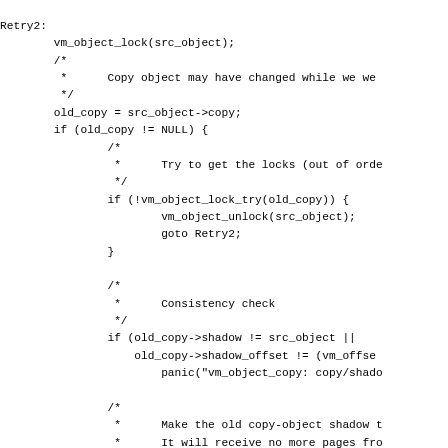Retry2:
        vm_object_lock(src_object);
        /*
         *      Copy object may have changed while we we
         */
        old_copy = src_object->copy;
        if (old_copy != NULL) {
                /*
                 *      Try to get the locks (out of orde
                 */
                if (!vm_object_lock_try(old_copy)) {
                        vm_object_unlock(src_object);
                        goto Retry2;
                }

                /*
                 *      Consistency check
                 */
                if (old_copy->shadow != src_object ||
                    old_copy->shadow_offset != (vm_offse
                        panic("vm_object_copy: copy/shado

                /*
                 *      Make the old copy-object shadow t
                 *      It will receive no more pages fro
                 *      object.
                 */

                src_object->ref_count--;        /* remove